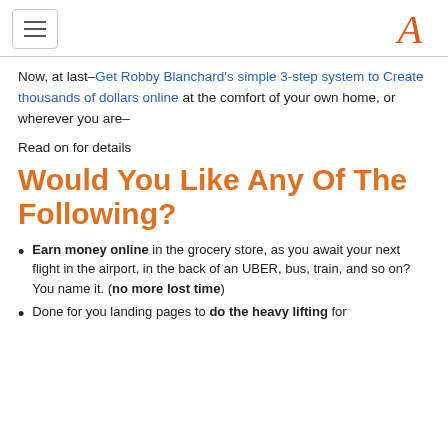[hamburger menu icon] [A logo]
Now, at last–Get Robby Blanchard's simple 3-step system to Create thousands of dollars online at the comfort of your own home, or wherever you are–
Read on for details
Would You Like Any Of The Following?
Earn money online in the grocery store, as you await your next flight in the airport, in the back of an UBER, bus, train, and so on? You name it. (no more lost time)
Done for you landing pages to do the heavy lifting for